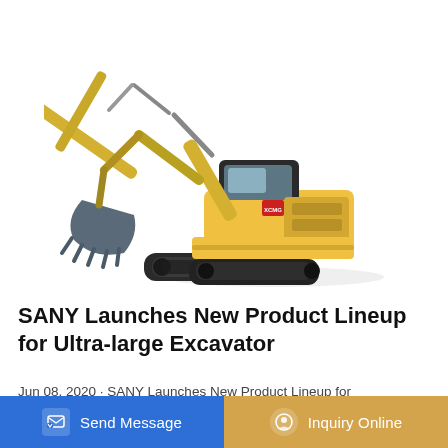[Figure (photo): Yellow SANY ultra-large excavator on white background, showing extended boom arm with bucket attachment and tracked undercarriage]
SANY Launches New Product Lineup for Ultra-large Excavator
Jun 08, 2020 · SANY Launches New Product Lineup for Ultra-large Excavator Posted on June 8, 2020 by agibson ... of c...